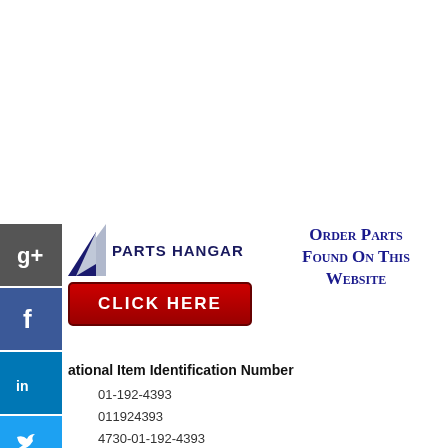[Figure (logo): Parts Hangar logo with triangle/arrow graphic and CLICK HERE red button, alongside social media sidebar icons (Google+, Facebook, LinkedIn, Twitter, Google, StumbleUpon)]
Order Parts Found On This Website
ational Item Identification Number
01-192-4393
011924393
4730-01-192-4393
4730011924393